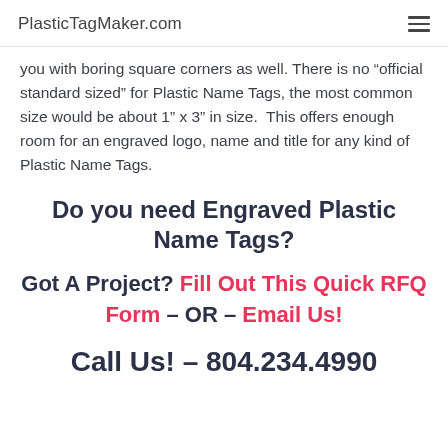PlasticTagMaker.com
you with boring square corners as well. There is no “official standard sized” for Plastic Name Tags, the most common size would be about 1” x 3” in size.  This offers enough room for an engraved logo, name and title for any kind of Plastic Name Tags.
Do you need Engraved Plastic Name Tags?
Got A Project? Fill Out This Quick RFQ Form – OR – Email Us!
Call Us! – 804.234.4990